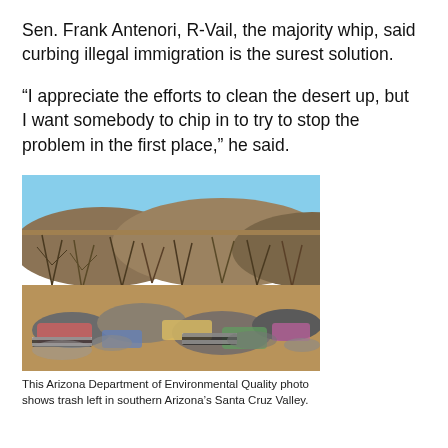Sen. Frank Antenori, R-Vail, the majority whip, said curbing illegal immigration is the surest solution.
“I appreciate the efforts to clean the desert up, but I want somebody to chip in to try to stop the problem in the first place,” he said.
[Figure (photo): Photo of trash and discarded clothing left in a desert area with dry brush and hills in the background, in southern Arizona's Santa Cruz Valley.]
This Arizona Department of Environmental Quality photo shows trash left in southern Arizona’s Santa Cruz Valley.